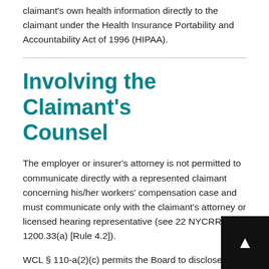claimant's own health information directly to the claimant under the Health Insurance Portability and Accountability Act of 1996 (HIPAA).
Involving the Claimant's Counsel
The employer or insurer's attorney is not permitted to communicate directly with a represented claimant concerning his/her workers' compensation case and must communicate only with the claimant's attorney or licensed hearing representative (see 22 NYCRR § 1200.33(a) [Rule 4.2]).
WCL § 110-a(2)(c) permits the Board to disclose any claimant information and records in its possession to an